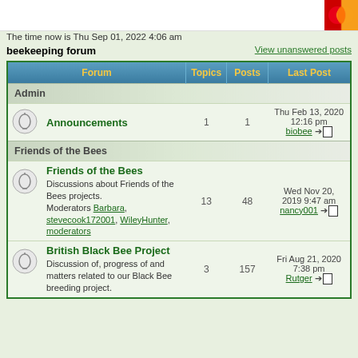The time now is Thu Sep 01, 2022 4:06 am
beekeeping forum
View unanswered posts
| Forum | Topics | Posts | Last Post |
| --- | --- | --- | --- |
| Admin |  |  |  |
| Announcements | 1 | 1 | Thu Feb 13, 2020 12:16 pm biobee →□ |
| Friends of the Bees |  |  |  |
| Friends of the Bees — Discussions about Friends of the Bees projects. Moderators Barbara, stevecook172001, WileyHunter, moderators | 13 | 48 | Wed Nov 20, 2019 9:47 am nancy001 →□ |
| British Black Bee Project — Discussion of, progress of and matters related to our Black Bee breeding project. | 3 | 157 | Fri Aug 21, 2020 7:38 pm Rutger →□ |